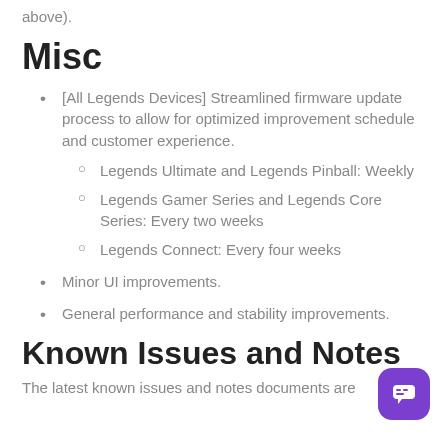above).
Misc
[All Legends Devices] Streamlined firmware update process to allow for optimized improvement schedule and customer experience.
Legends Ultimate and Legends Pinball: Weekly
Legends Gamer Series and Legends Core Series: Every two weeks
Legends Connect: Every four weeks
Minor UI improvements.
General performance and stability improvements.
Known Issues and Notes
The latest known issues and notes documents are